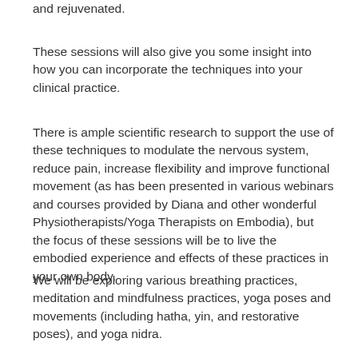and rejuvenated.
These sessions will also give you some insight into how you can incorporate the techniques into your clinical practice.
There is ample scientific research to support the use of these techniques to modulate the nervous system, reduce pain, increase flexibility and improve functional movement (as has been presented in various webinars and courses provided by Diana and other wonderful Physiotherapists/Yoga Therapists on Embodia), but the focus of these sessions will be to live the embodied experience and effects of these practices in your own body.
We will be exploring various breathing practices, meditation and mindfulness practices, yoga poses and movements (including hatha, yin, and restorative poses), and yoga nidra.